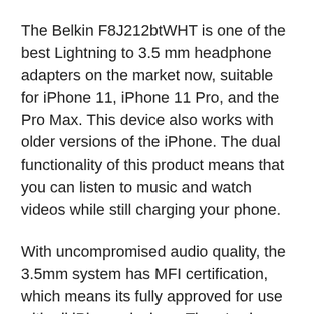The Belkin F8J212btWHT is one of the best Lightning to 3.5 mm headphone adapters on the market now, suitable for iPhone 11, iPhone 11 Pro, and the Pro Max. This device also works with older versions of the iPhone. The dual functionality of this product means that you can listen to music and watch videos while still charging your phone.
With uncompromised audio quality, the 3.5mm system has MFI certification, which means its fully approved for use with all iPhone devices. There's also a charge and sync feature to transfer music, photos, and video to and from your devices with ease.